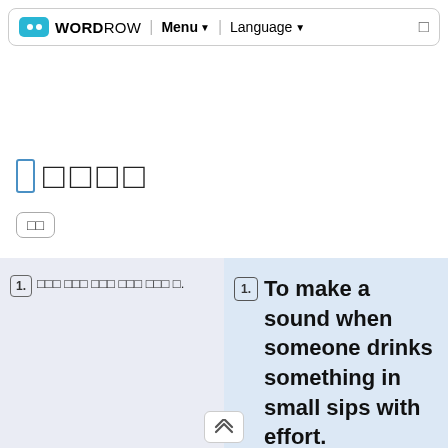WORDROW | Menu ▼ | Language ▼
□ □□□□
□□
1. □□□ □□□ □□□ □□□ □□□ □.
1. To make a sound when someone drinks something in small sips with effort.